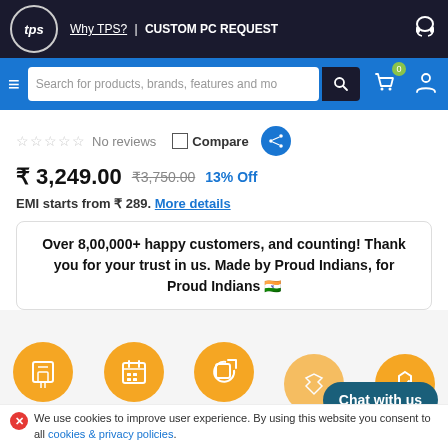Why TPS? | CUSTOM PC REQUEST
Search for products, brands, features and more
☆☆☆☆☆ No reviews  Compare
₹ 3,249.00  ₹3,750.00  13% Off
EMI starts from ₹ 289. More details
Over 8,00,000+ happy customers, and counting! Thank you for your trust in us. Made by Proud Indians, for Proud Indians 🇮🇳
Contact-less   No Cost   14 Days
Chat with us
We use cookies to improve user experience. By using this website you consent to all cookies & privacy policies.